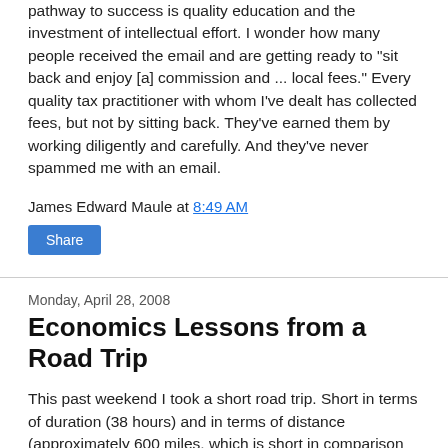pathway to success is quality education and the investment of intellectual effort. I wonder how many people received the email and are getting ready to "sit back and enjoy [a] commission and ... local fees." Every quality tax practitioner with whom I've dealt has collected fees, but not by sitting back. They've earned them by working diligently and carefully. And they've never spammed me with an email.
James Edward Maule at 8:49 AM
Share
Monday, April 28, 2008
Economics Lessons from a Road Trip
This past weekend I took a short road trip. Short in terms of duration (38 hours) and in terms of distance (approximately 600 miles, which is short in comparison to most of my journeys). I learned several things.
First, it's tough to believe the nation's economy is in a